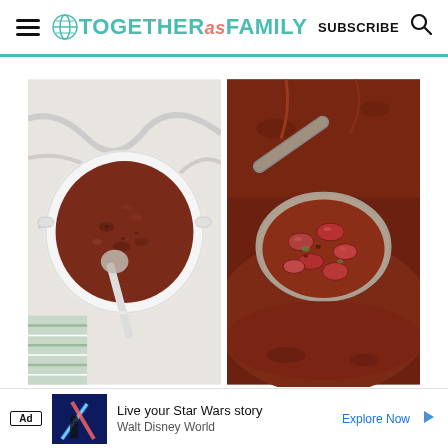Together as Family — SUBSCRIBE
[Figure (photo): Left: overhead view of a white pot of beef chili with a ladle on a marble surface with striped cloth. Right: close-up of a ladle scooping chili with kidney beans from a pot.]
Ad  Live your Star Wars story  Walt Disney World  Explore Now